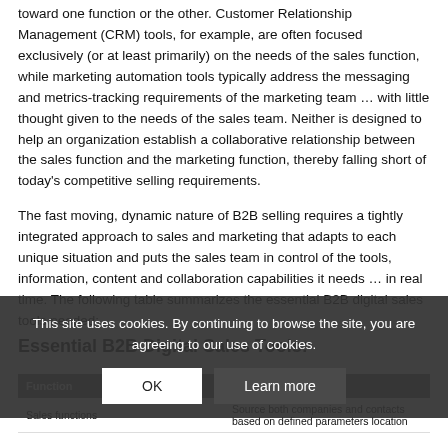toward one function or the other. Customer Relationship Management (CRM) tools, for example, are often focused exclusively (or at least primarily) on the needs of the sales function, while marketing automation tools typically address the messaging and metrics-tracking requirements of the marketing team … with little thought given to the needs of the sales team. Neither is designed to help an organization establish a collaborative relationship between the sales function and the marketing function, thereby falling short of today's competitive selling requirements.
The fast moving, dynamic nature of B2B selling requires a tightly integrated approach to sales and marketing that adapts to each unique situation and puts the sales team in control of the tools, information, content and collaboration capabilities it needs … in real time. The following table summarizes the essential B2B digital sales tools needed:
Essential B2B Digital Sales Tools:
| Function | Tool type | Scope/example |
| --- | --- | --- |
| Sales functions |  | Source both companies and contacts based on defined parameters location |